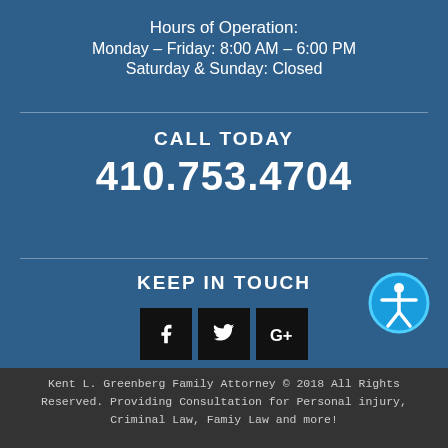Hours of Operation:
Monday – Friday: 8:00 AM – 6:00 PM
Saturday & Sunday: Closed
CALL TODAY
410.753.4704
KEEP IN TOUCH
[Figure (infographic): Social media icons: Facebook (f), Twitter (bird), Google+ (G+) in black square buttons]
[Figure (infographic): Accessibility icon: white figure with arms outstretched in a blue circle]
Kent L. Greenberg Family Attorney © 2018 All Rights Reserved. Providing Consultation for Personal injury, Criminal Law, Famiy Law and more!